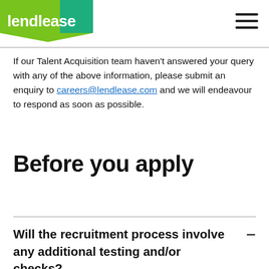lendlease
If our Talent Acquisition team haven't answered your query with any of the above information, please submit an enquiry to careers@lendlease.com and we will endeavour to respond as soon as possible.
Before you apply
Will the recruitment process involve any additional testing and/or checks?